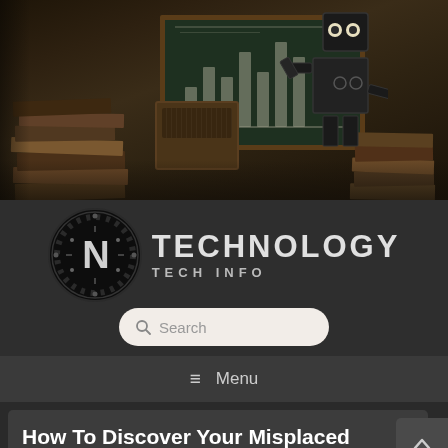[Figure (photo): Hero image of a steampunk robot sitting at a desk with stacked old books and a chalkboard showing a bar chart in the background. Dark, moody brown tones.]
[Figure (logo): N Technology Tech Info logo: black circle with circuit-board 'N' letter design, text 'TECHNOLOGY' in large letters and 'TECH INFO' below.]
[Figure (other): Search bar with magnifying glass icon and 'Search' placeholder text, rounded rectangle, light background.]
≡ Menu
How To Discover Your Misplaced Or